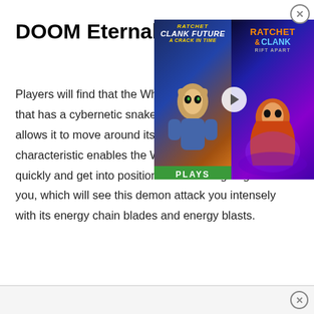DOOM Eternal Whipl...
[Figure (screenshot): Video ad overlay showing Ratchet & Clank Future: A Crack in Time and Ratchet & Clank Rift Apart thumbnails with a play button in the center and IGN Plays badge]
Players will find that the Whipla... that has a cybernetic snake lik... allows it to move around its en... characteristic enables the Whiplash to move around quickly and get into positions of advantage against you, which will see this demon attack you intensely with its energy chain blades and energy blasts.
× (close button)